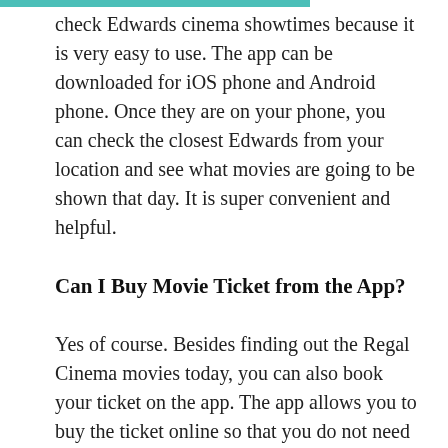check Edwards cinema showtimes because it is very easy to use. The app can be downloaded for iOS phone and Android phone. Once they are on your phone, you can check the closest Edwards from your location and see what movies are going to be shown that day. It is super convenient and helpful.
Can I Buy Movie Ticket from the App?
Yes of course. Besides finding out the Regal Cinema movies today, you can also book your ticket on the app. The app allows you to buy the ticket online so that you do not need to stand in line to buy ticket at the